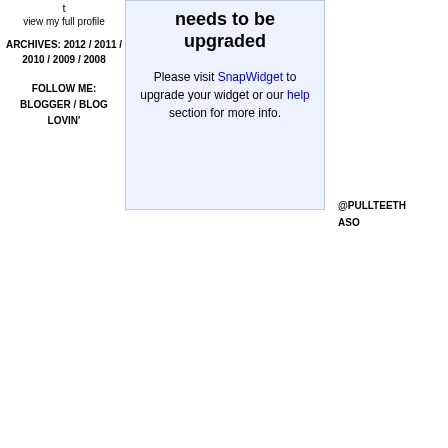t
view my full profile
ARCHIVES: 2012 / 2011 / 2010 / 2009 / 2008
FOLLOW ME: BLOGGER / BLOG LOVIN'
needs to be upgraded
Please visit SnapWidget to upgrade your widget or our help section for more info.
@PULLTEETH
ASO